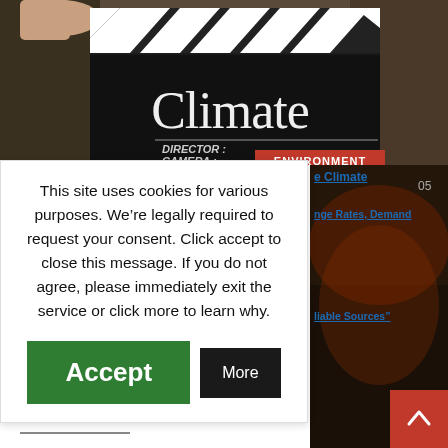[Figure (photo): A movie clapperboard showing 'Climate', with 'DIRECTOR:' and 'CAMERA:' fields, and a red 'ENVIRONMENT' label overlaid. Background shows trees and dark smoke. A hand holds the clapperboard.]
e Climate
nge Rates, Demand
liable Sources”
This site uses cookies for various purposes. We’re legally required to request your consent. Click accept to close this message. If you do not agree, please immediately exit the service or click more to learn why.
Accept
More